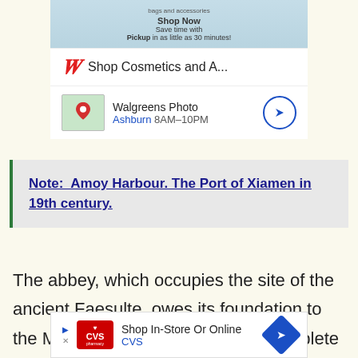[Figure (screenshot): Walgreens advertisement showing cosmetics section with 'Shop Now', 'Save time with Pickup in as little as 30 minutes!' text, Walgreens logo and 'Shop Cosmetics and A...' brand line, and a Walgreens Photo location row showing 'Ashburn 8AM-10PM' with a map thumbnail and navigation arrow.]
Note:  Amoy Harbour. The Port of Xiamen in 19th century.
The abbey, which occupies the site of the ancient Faesulte, owes its foundation to the Medicean family, and is no incomplete emblem of the splendid tastes and projects
[Figure (screenshot): CVS Pharmacy advertisement: 'Shop In-Store Or Online' with CVS logo and navigation arrow.]